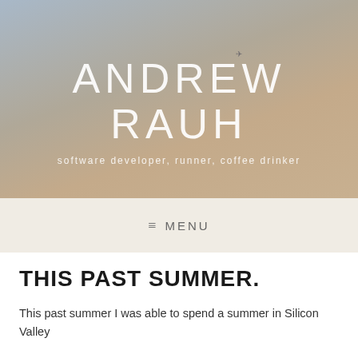[Figure (photo): Hero banner with gradient sky background (blue-grey to warm beige/tan) containing a small airplane silhouette near the top right]
ANDREW RAUH
software developer, runner, coffee drinker
≡  MENU
THIS PAST SUMMER.
This past summer I was able to spend a summer in Silicon Valley